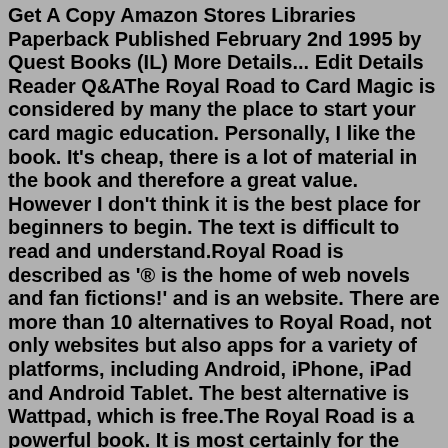Get A Copy Amazon Stores Libraries Paperback Published February 2nd 1995 by Quest Books (IL) More Details... Edit Details Reader Q&AThe Royal Road to Card Magic is considered by many the place to start your card magic education. Personally, I like the book. It's cheap, there is a lot of material in the book and therefore a great value. However I don't think it is the best place for beginners to begin. The text is difficult to read and understand.Royal Road is described as '® is the home of web novels and fan fictions!' and is an website. There are more than 10 alternatives to Royal Road, not only websites but also apps for a variety of platforms, including Android, iPhone, iPad and Android Tablet. The best alternative is Wattpad, which is free.The Royal Road is a powerful book. It is most certainly for the true student of esoteric knowledge. It explains how the first eight cards of the Major Arcana (including the fool)tells the story of the Prodigal Son. it covers astrology, symbolism, masonry, anatomy, and their correlation to the Bible. Read Royal Road RR